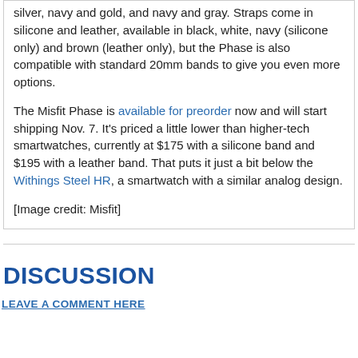silver, navy and gold, and navy and gray. Straps come in silicone and leather, available in black, white, navy (silicone only) and brown (leather only), but the Phase is also compatible with standard 20mm bands to give you even more options.
The Misfit Phase is available for preorder now and will start shipping Nov. 7. It's priced a little lower than higher-tech smartwatches, currently at $175 with a silicone band and $195 with a leather band. That puts it just a bit below the Withings Steel HR, a smartwatch with a similar analog design.
[Image credit: Misfit]
DISCUSSION
LEAVE A COMMENT HERE